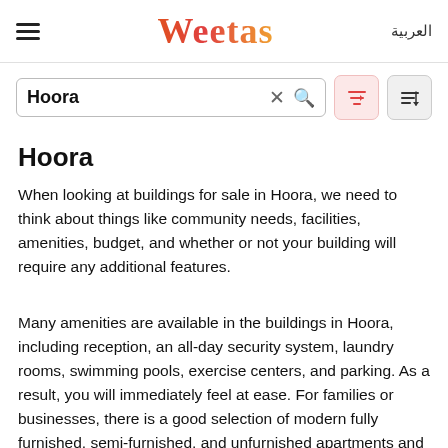Weetas | العربية
Hoora (search box)
Hoora
When looking at buildings for sale in Hoora, we need to think about things like community needs, facilities, amenities, budget, and whether or not your building will require any additional features.
Many amenities are available in the buildings in Hoora, including reception, an all-day security system, laundry rooms, swimming pools, exercise centers, and parking. As a result, you will immediately feel at ease. For families or businesses, there is a good selection of modern fully furnished, semi-furnished, and unfurnished apartments and workplaces.